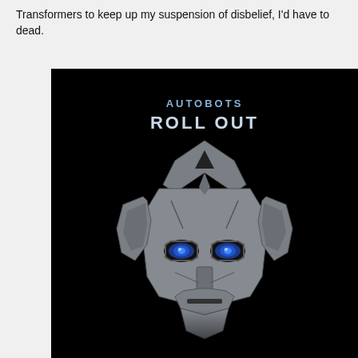Transformers to keep up my suspension of disbelief, I'd have to dead.
[Figure (illustration): Autobot logo face from Transformers movie on black background with text 'AUTOBOTS ROLL OUT' in blue/white letters at the top]